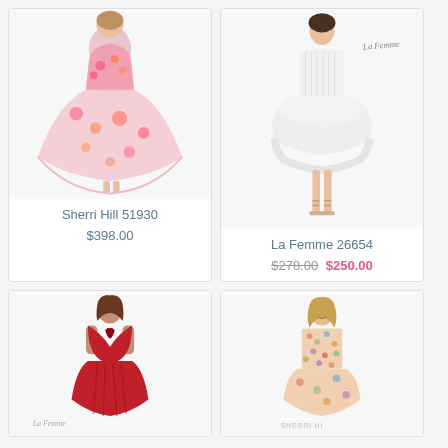[Figure (photo): Pink ball gown with floral appliqués - Sherri Hill 51930]
Sherri Hill 51930
$398.00
[Figure (photo): White short layered tulle dress with La Femme script logo - La Femme 26654]
La Femme 26654
$278.00 $250.00
[Figure (photo): Red deep V-neck satin ball gown with La Femme script logo]
[Figure (photo): Floral sequin short dress with Sherri Hill text watermark]